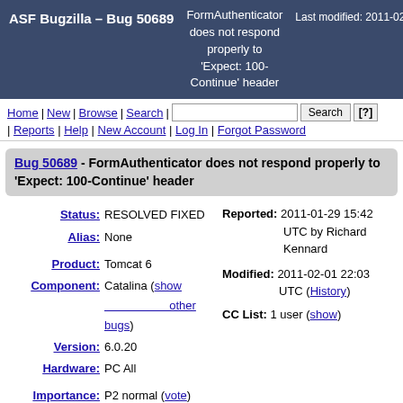ASF Bugzilla – Bug 50689 | FormAuthenticator does not respond properly to 'Expect: 100-Continue' header | Last modified: 2011-02-01
Home | New | Browse | Search | [search box] Search [?] | Reports | Help | New Account | Log In | Forgot Password
Bug 50689 - FormAuthenticator does not respond properly to 'Expect: 100-Continue' header
Status: RESOLVED FIXED
Alias: None
Product: Tomcat 6
Component: Catalina (show other bugs)
Version: 6.0.20
Hardware: PC All
Importance: P2 normal (vote)
Target Milestone: default
Reported: 2011-01-29 15:42 UTC by Richard Kennard
Modified: 2011-02-01 22:03 UTC (History)
CC List: 1 user (show)